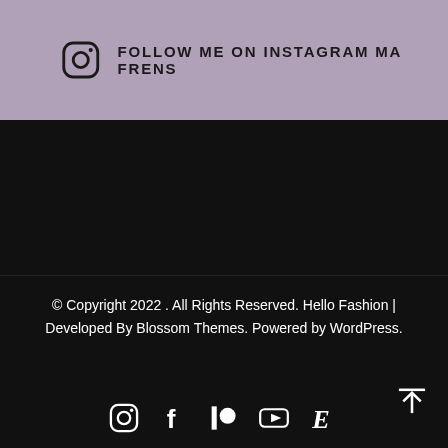FOLLOW ME ON INSTAGRAM MA FRENS
© Copyright 2022 . All Rights Reserved. Hello Fashion | Developed By Blossom Themes. Powered by WordPress.
[Figure (infographic): Social media icons row: Instagram, Facebook, Patreon, YouTube, Etsy, and a scroll-to-top arrow icon]